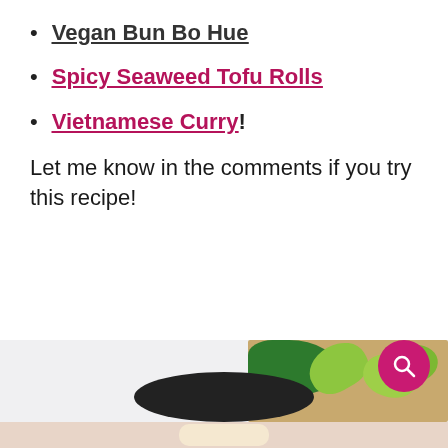Vegan Bun Bo Hue
Spicy Seaweed Tofu Rolls
Vietnamese Curry!
Let me know in the comments if you try this recipe!
[Figure (photo): Food photo showing lime wedges on a wooden cutting board with fresh herbs, a dark bowl, and a search button overlay. Bottom portion shows what appears to be a spring roll or similar Vietnamese dish.]